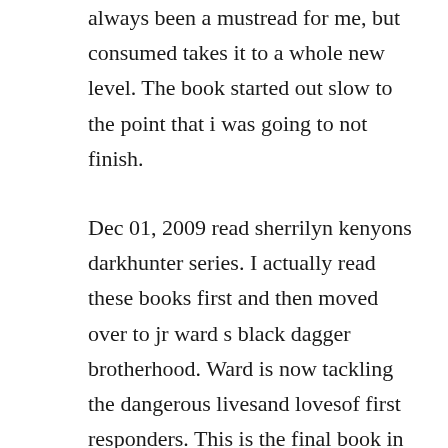always been a mustread for me, but consumed takes it to a whole new level. The book started out slow to the point that i was going to not finish.
Dec 01, 2009 read sherrilyn kenyons darkhunter series. I actually read these books first and then moved over to jr ward s black dagger brotherhood. Ward is now tackling the dangerous livesand lovesof first responders. This is the final book in the bdb legacy series, and as such, its nice to revisit these novels and where they came from. Ward has 123 books